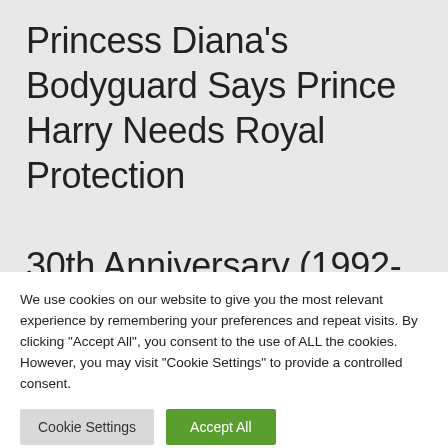Princess Diana's Bodyguard Says Prince Harry Needs Royal Protection 30th Anniversary (1992-2022) of
We use cookies on our website to give you the most relevant experience by remembering your preferences and repeat visits. By clicking "Accept All", you consent to the use of ALL the cookies. However, you may visit "Cookie Settings" to provide a controlled consent.